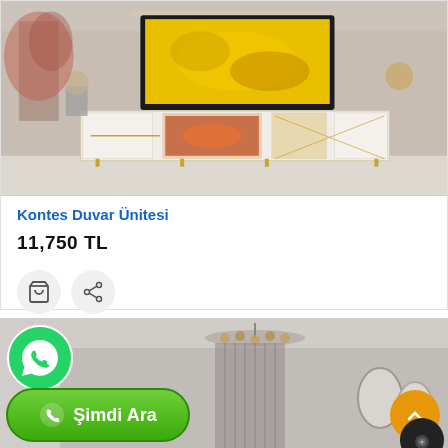[Figure (photo): Luxury TV unit / wall unit with white and gold finish, large TV showing yellow autumn leaves, decorative items, in a stylish living room]
Kontes Duvar Ünitesi
11,750 TL
[Figure (illustration): Bottom section: WhatsApp green circle button, 'Şimdi Ara' (Call Now) green pill button with phone icon, partial living room/dining room photo in background, orange scroll-to-top button, dark chat bubble button]
Şimdi Ara